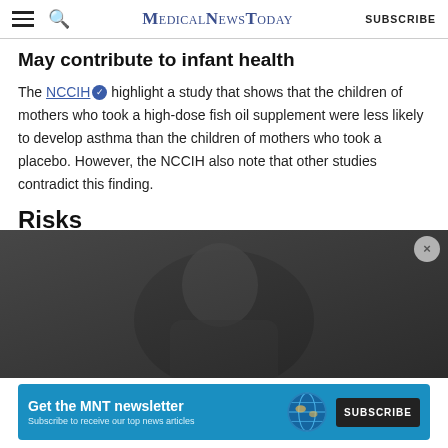MedicalNewsToday | SUBSCRIBE
May contribute to infant health
The NCCIH highlight a study that shows that the children of mothers who took a high-dose fish oil supplement were less likely to develop asthma than the children of mothers who took a placebo. However, the NCCIH also note that other studies contradict this finding.
Risks
[Figure (photo): Photograph of a person (partially visible), used as article background image near section on Risks]
ADVERTISEMENT
Get the MNT newsletter — Subscribe to receive our top news articles — SUBSCRIBE